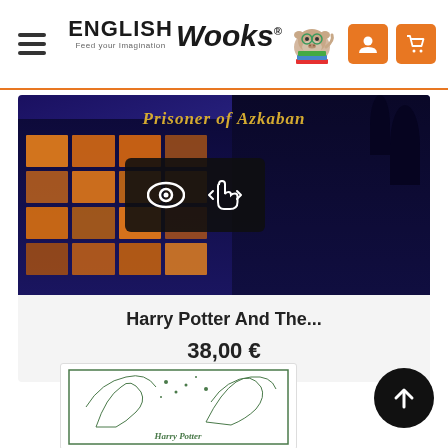English Wooks — Feed your imagination
[Figure (screenshot): Book cover for Harry Potter and the Prisoner of Azkaban — dark blue night scene with illuminated bus/building, overlaid with quick-view and cart icons]
Harry Potter And The...
38,00 €
[Figure (illustration): Harry Potter book cover sketch with fairies/magical creatures in green line art]
[Figure (other): Scroll-to-top circular button with upward arrow]